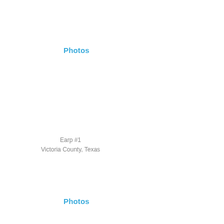Photos
Earp #1
Victoria County, Texas
Photos